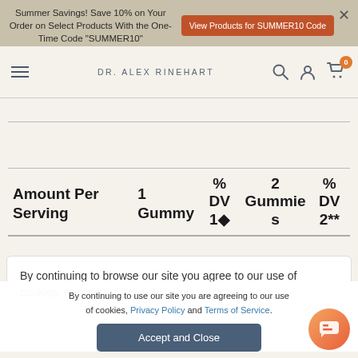Summer Savings! Save 10% on Your Order on Select Products With the One-Time Code "SUMMER10" | View Products for SUMMER10 Code
[Figure (screenshot): Website navigation bar with hamburger menu, DR. ALEX RINEHART brand name, search icon, user icon, and shopping cart icon with badge showing 0]
| Amount Per Serving | 1 Gummy | % DV 1◆ | 2 Gummies | % DV 2** |
| --- | --- | --- | --- | --- |
By continuing to browse our site you agree to our use of cookies, revised privacy policy and terms of
By continuing to use our site you are agreeing to our use of cookies, Privacy Policy and Terms of Service.
Accept and Close